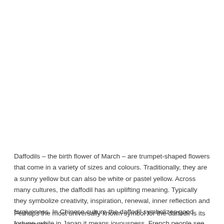Daffodils – the birth flower of March – are trumpet-shaped flowers that come in a variety of sizes and colours. Traditionally, they are a sunny yellow but can also be white or pastel yellow. Across many cultures, the daffodil has an uplifting meaning. Typically they symbolize creativity, inspiration, renewal, inner reflection and forgiveness. In Chinese culture the daffodil symbolizes good fortune, while in Japan it means joyousness. French people see the daffodil as a symbol of hope and in Wales the first to find a daffodil bloom will be blessed for the upcoming year.
Perhaps the most universally known symbol for the daffodil is its association